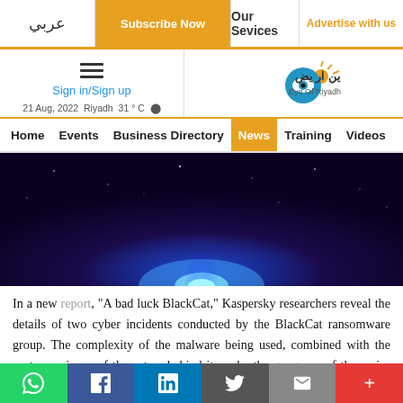عربي | Subscribe Now | Our Services | Advertise with us
Sign in/Sign up | 21 Aug, 2022 Riyadh 31°C | Eye Of Riyadh
Home Events Business Directory News Training Videos
[Figure (photo): Dark blue and purple abstract digital background with glowing blue light beam at bottom center]
In a new report, "A bad luck BlackCat," Kaspersky researchers reveal the details of two cyber incidents conducted by the BlackCat ransomware group. The complexity of the malware being used, combined with the vast experience of the actors behind it, make the gang one of the major players in today’s ransomware market. The tools and techniques the group deploys during their attacks confirm the connection between BlackCat
WhatsApp | Facebook | LinkedIn | Twitter | Email | More